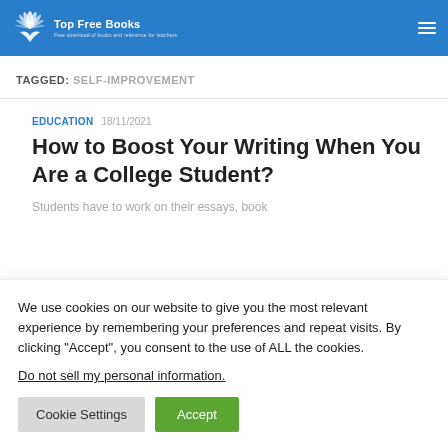Top Free Books
TAGGED: SELF-IMPROVEMENT
EDUCATION 18/11/2021
How to Boost Your Writing When You Are a College Student?
Students have to work on their essays, book
We use cookies on our website to give you the most relevant experience by remembering your preferences and repeat visits. By clicking “Accept”, you consent to the use of ALL the cookies.
Do not sell my personal information.
Cookie Settings | Accept